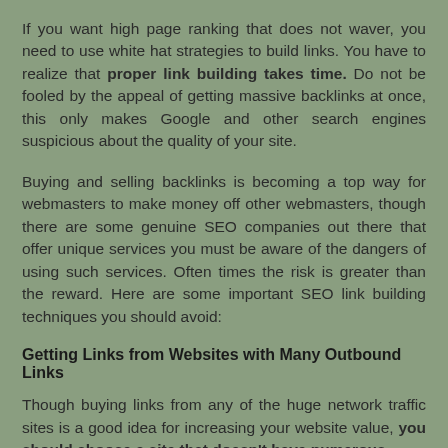If you want high page ranking that does not waver, you need to use white hat strategies to build links. You have to realize that proper link building takes time. Do not be fooled by the appeal of getting massive backlinks at once, this only makes Google and other search engines suspicious about the quality of your site.
Buying and selling backlinks is becoming a top way for webmasters to make money off other webmasters, though there are some genuine SEO companies out there that offer unique services you must be aware of the dangers of using such services. Often times the risk is greater than the reward. Here are some important SEO link building techniques you should avoid:
Getting Links from Websites with Many Outbound Links
Though buying links from any of the huge network traffic sites is a good idea for increasing your website value, you should choose a site that doesn't have numerous outbound links. If you want to have the right kind of link